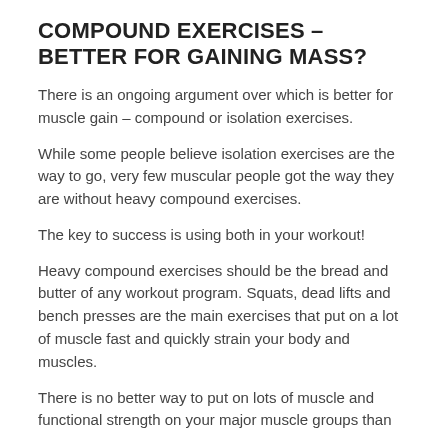COMPOUND EXERCISES – BETTER FOR GAINING MASS?
There is an ongoing argument over which is better for muscle gain – compound or isolation exercises.
While some people believe isolation exercises are the way to go, very few muscular people got the way they are without heavy compound exercises.
The key to success is using both in your workout!
Heavy compound exercises should be the bread and butter of any workout program. Squats, dead lifts and bench presses are the main exercises that put on a lot of muscle fast and quickly strain your body and muscles.
There is no better way to put on lots of muscle and functional strength on your major muscle groups than